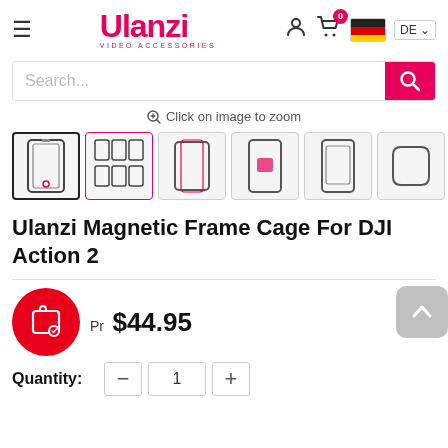[Figure (screenshot): Ulanzi website header with logo, hamburger menu, user icon, cart with 0 badge, German flag, and DE language selector]
[Figure (screenshot): Search bar with placeholder text 'Search...' and pink search button]
Click on image to zoom
[Figure (photo): Product thumbnail gallery showing 7 views of the Ulanzi Magnetic Frame Cage for DJI Action 2. First thumbnail is selected with bold border.]
Ulanzi Magnetic Frame Cage For DJI Action 2
Price: $44.95
Quantity: 1